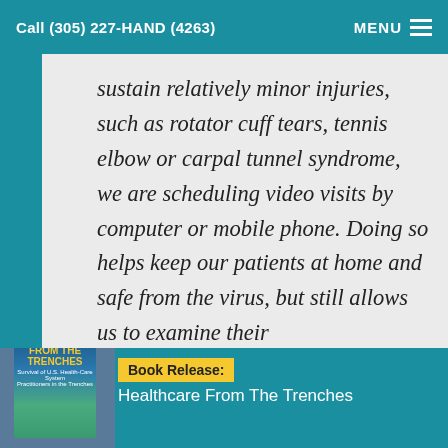Call (305) 227-HAND (4263)   MENU
sustain relatively minor injuries, such as rotator cuff tears, tennis elbow or carpal tunnel syndrome, we are scheduling video visits by computer or mobile phone. Doing so helps keep our patients at home and safe from the virus, but still allows us to examine their
Book Release: Healthcare From The Trenches